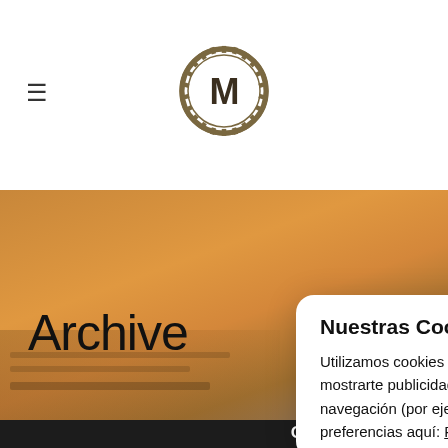≡ [M logo]
[Figure (logo): Circular gear-border badge with letter M in center, dark olive/brown color]
Archive
No post
Nuestras Cookies
Utilizamos cookies propias y de terceros para fines técnicos, de personalización, analíticos y para mostrarte publicidad personalizada en base a un perfil elaborado a partir de sus hábitos de navegación (por ejemplo, páginas visitadas). Puedes obtener más información y configurar tus preferencias aquí: Políticas de Cookies
Oficinas Centrales